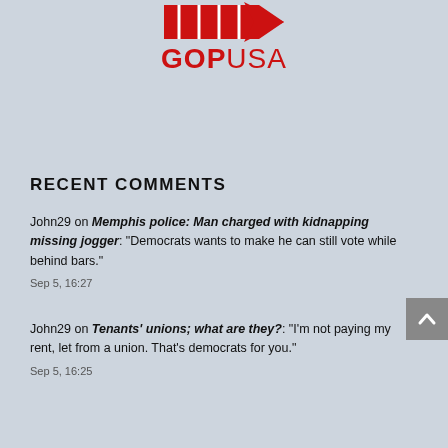[Figure (logo): GOPUSA logo with red arrow/banner graphic above red bold text]
RECENT COMMENTS
John29 on Memphis police: Man charged with kidnapping missing jogger: “Democrats wants to make he can still vote while behind bars.” Sep 5, 16:27
John29 on Tenants’ unions; what are they?: “I’m not paying my rent, let from a union. That’s democrats for you.” Sep 5, 16:25